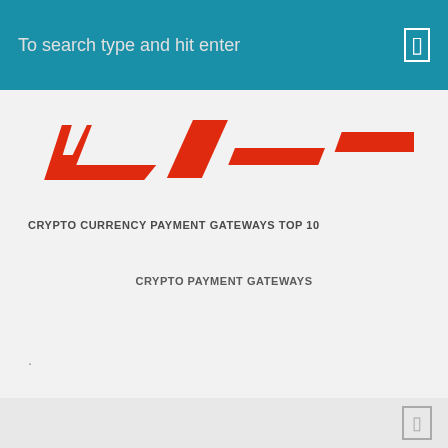To search type and hit enter
[Figure (logo): Red stylized italic logo mark on light gray background]
CRYPTO CURRENCY PAYMENT GATEWAYS TOP 10
CRYPTO PAYMENT GATEWAYS
.
Social media icons row and navigation icon